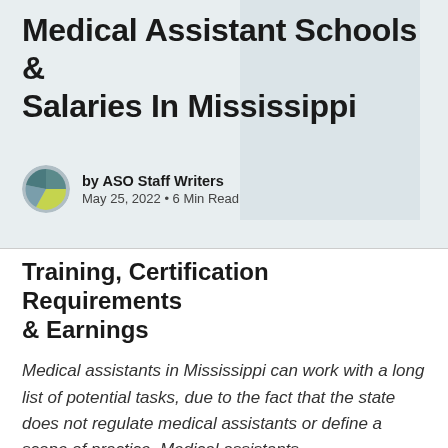Medical Assistant Schools & Salaries In Mississippi
by ASO Staff Writers
May 25, 2022 • 6 Min Read
Training, Certification Requirements & Earnings
Medical assistants in Mississippi can work with a long list of potential tasks, due to the fact that the state does not regulate medical assistants or define a scope of practice. Medical assistants